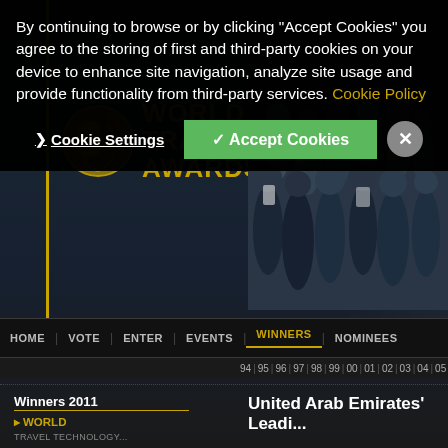By continuing to browse or by clicking "Accept Cookies" you agree to the storing of first and third-party cookies on your device to enhance site navigation, analyze site usage and provide functionality from third-party services. Cookie Policy
Cookie Settings | ✓ Accept Cookies | ×
[Figure (screenshot): World Travel Awards website header with logo showing globe and figure, gold text reading WORLD TRAVEL AWARDS, dark background with crowd photo on right, navigation bar with HOME, VOTE, ENTER, EVENTS, WINNERS (active/highlighted), NOMINEES, year navigation 94|95|96|97|98|99|00|01|02|03|04|05|0...]
Winners 2011
▶ WORLD
TRAVEL TECHNOLOGY...
United Arab Emirates' Leadi...